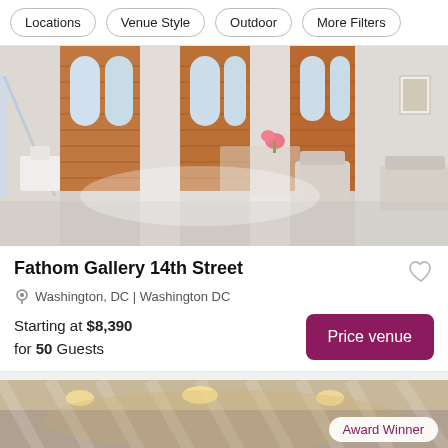Locations | Venue Style | Outdoor | More Filters
[Figure (photo): Interior of Fathom Gallery 14th Street: bright loft-style event space with exposed brick walls, large arched windows, modern furniture including a tufted chair, dining table with pink flowers, glass staircase railing on the left, and artwork on the white-painted brick wall.]
Fathom Gallery 14th Street
Washington, DC | Washington DC
Starting at $8,390 for 50 Guests
[Figure (photo): Bottom strip of a venue photo showing an elegant ballroom or event space with draped fabric ceiling, hanging chandeliers, and warm golden lighting. An 'Award Winner' badge is shown in the bottom right corner.]